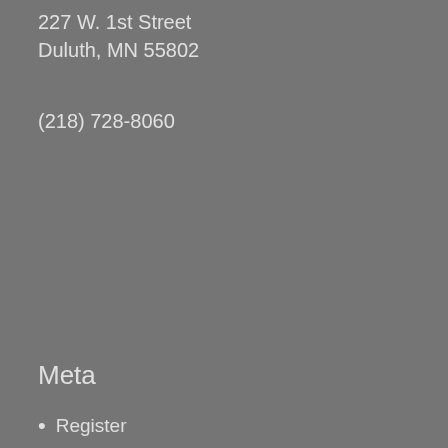227 W. 1st Street
Duluth, MN 55802
(218) 728-8060
Meta
Register